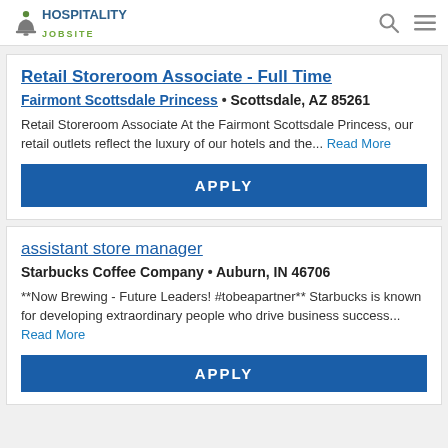HOSPITALITY JOBSITE
Retail Storeroom Associate - Full Time
Fairmont Scottsdale Princess • Scottsdale, AZ 85261
Retail Storeroom Associate At the Fairmont Scottsdale Princess, our retail outlets reflect the luxury of our hotels and the... Read More
APPLY
assistant store manager
Starbucks Coffee Company • Auburn, IN 46706
**Now Brewing - Future Leaders! #tobeapartner** Starbucks is known for developing extraordinary people who drive business success... Read More
APPLY